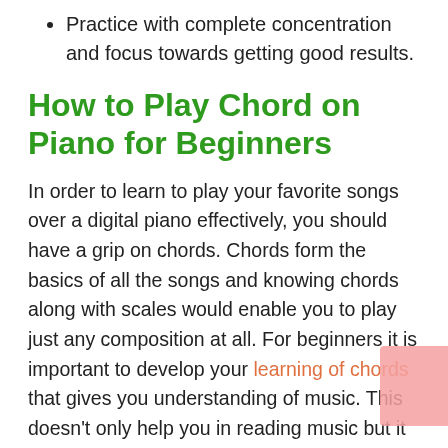Practice with complete concentration and focus towards getting good results.
How to Play Chord on Piano for Beginners
In order to learn to play your favorite songs over a digital piano effectively, you should have a grip on chords. Chords form the basics of all the songs and knowing chords along with scales would enable you to play just any composition at all. For beginners it is important to develop your learning of chords that gives you understanding of music. This doesn't only help you in reading music but it would also aid you in composing and improvising notes. It is important for learners/students to include practicing chords in their daily routine in order to get more familiar with the basic